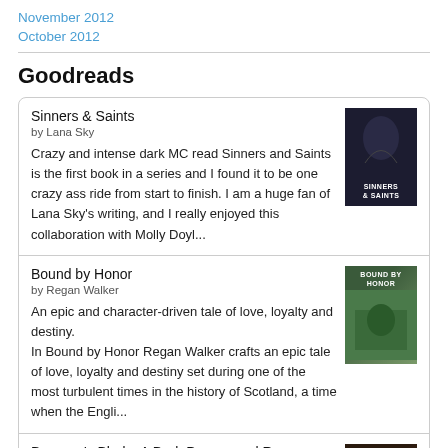November 2012
October 2012
Goodreads
Sinners & Saints
by Lana Sky
Crazy and intense dark MC read Sinners and Saints is the first book in a series and I found it to be one crazy ass ride from start to finish. I am a huge fan of Lana Sky's writing, and I really enjoyed this collaboration with Molly Doyl...
Bound by Honor
by Regan Walker
An epic and character-driven tale of love, loyalty and destiny.
In Bound by Honor Regan Walker crafts an epic tale of love, loyalty and destiny set during one of the most turbulent times in the history of Scotland, a time when the Engli...
Daemon's Blade: A Dark Paranormal Romance